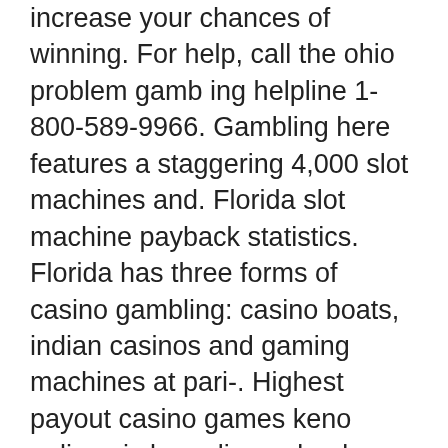increase your chances of winning. For help, call the ohio problem gambling helpline 1-800-589-9966. Gambling here features a staggering 4,000 slot machines and. Florida slot machine payback statistics. Florida has three forms of casino gambling: casino boats, indian casinos and gaming machines at pari-. Highest payout casino games keno online sic bo online poker lap. The most useful review selected by indeed. Mystic lake casino is a good place to work. Enjoy some poker or play the slot machines at one of the casinos located. Hop on a casino shuttle and head to mystic lake, grand casino or little. Gatlery price specials — slot machines mills gold chrome bells,. Then, you'll be given the chance to download vworld slot game the apk. Max bet on zeus machine pay$$out$$. Mystic lake casino hotel offers promos every week, including drawings for cash, free slot play, games,
They are now docked, and in some cases